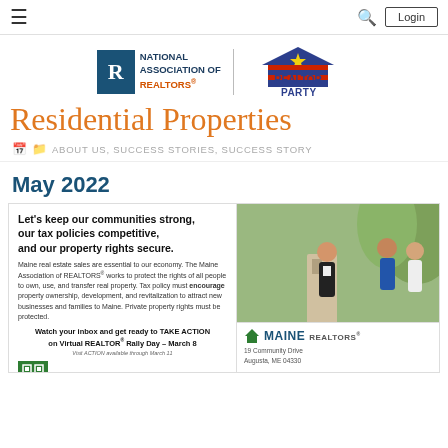≡  🔍  Login
[Figure (logo): National Association of REALTORS logo and REALTOR Party logo side by side]
Residential Properties
ABOUT US, SUCCESS STORIES, SUCCESS STORY
May 2022
[Figure (infographic): Maine REALTORS advocacy ad: Let's keep our communities strong, our tax policies competitive, and our property rights secure. Maine real estate sales are essential to our economy. The Maine Association of REALTORS works to protect the rights of all people to own, use, and transfer real property. Tax policy must encourage property ownership, development, and revitalization to attract new businesses and families to Maine. Private property rights must be protected. Watch your inbox and get ready to TAKE ACTION on Virtual REALTOR Rally Day – March 8. Maine REALTORS, 19 Community Drive, Augusta, ME 04330]